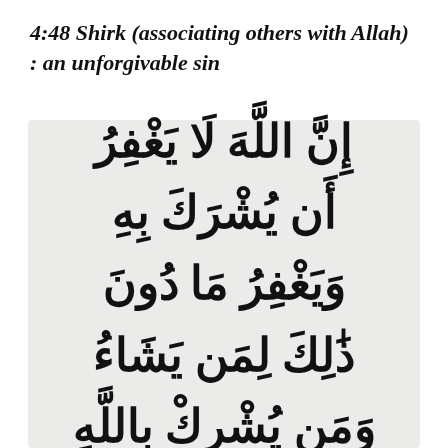4:48 Shirk (associating others with Allah) : an unforgivable sin
[Figure (illustration): Large Arabic Quranic verse text displayed on a light gray background panel. The Arabic text reads: إِنَّ اللَّهَ لَا يَغْفِرُ أَن يُشْرَكَ بِهِ وَيَغْفِرُ مَا دُونَ ذَٰلِكَ لِمَن يَشَاءُ وَمَن يُشْرِكْ بِاللَّهِ]